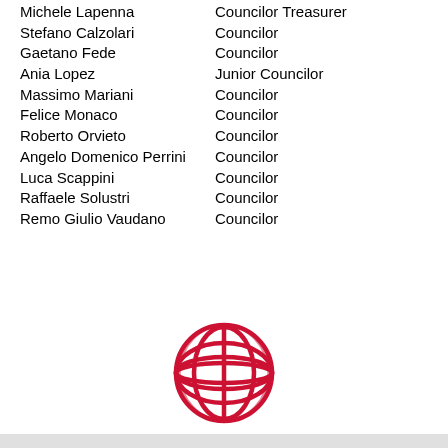Michele Lapenna — Councilor Treasurer
Stefano Calzolari — Councilor
Gaetano Fede — Councilor
Ania Lopez — Junior Councilor
Massimo Mariani — Councilor
Felice Monaco — Councilor
Roberto Orvieto — Councilor
Angelo Domenico Perrini — Councilor
Luca Scappini — Councilor
Raffaele Solustri — Councilor
Remo Giulio Vaudano — Councilor
[Figure (logo): Red globe/world icon logo]